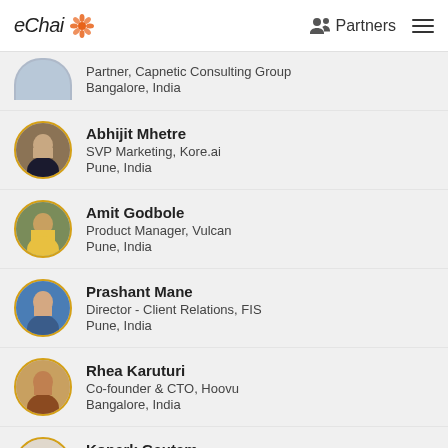eChai | Partners
Partner, Capnetic Consulting Group
Bangalore, India
Abhijit Mhetre
SVP Marketing, Kore.ai
Pune, India
Amit Godbole
Product Manager, Vulcan
Pune, India
Prashant Mane
Director - Client Relations, FIS
Pune, India
Rhea Karuturi
Co-founder & CTO, Hoovu
Bangalore, India
Konark Gautam
Co-Founder, Aliste
Ahmedabad, India